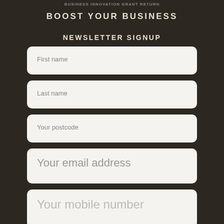BUSINESS INNOVATION GRANT RETURN
BOOST YOUR BUSINESS
NEWSLETTER SIGNUP
First name
Last name
Your postcode
Your email address
Your mobile number